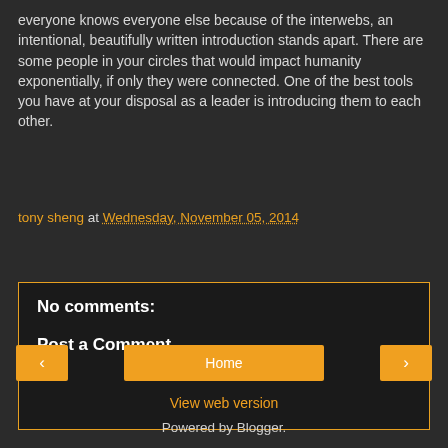everyone knows everyone else because of the interwebs, an intentional, beautifully written introduction stands apart. There are some people in your circles that would impact humanity exponentially, if only they were connected. One of the best tools you have at your disposal as a leader is introducing them to each other.
tony sheng at Wednesday, November 05, 2014
Share
No comments:
Post a Comment
Home
View web version
Powered by Blogger.